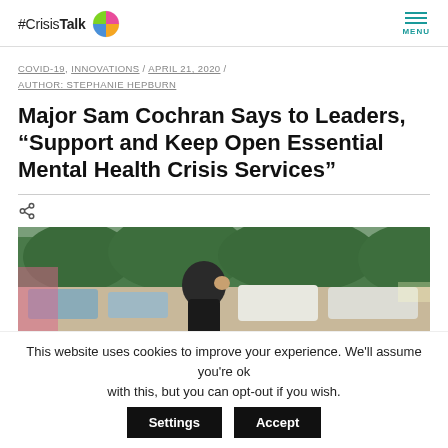#CrisisTalk MENU
COVID-19, INNOVATIONS / APRIL 21, 2020 / AUTHOR: STEPHANIE HEPBURN
Major Sam Cochran Says to Leaders, “Support and Keep Open Essential Mental Health Crisis Services”
[Figure (photo): Photo of a man from behind at an outdoor event with cars and trees in background]
This website uses cookies to improve your experience. We’ll assume you’re ok with this, but you can opt-out if you wish.